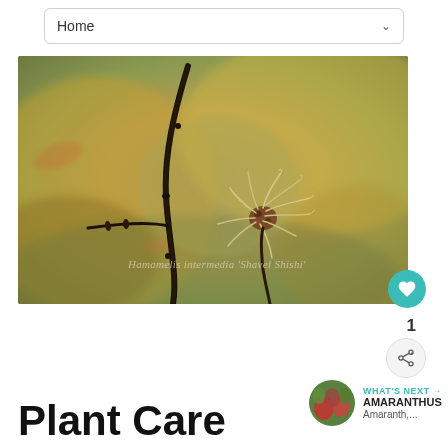Home
[Figure (photo): Close-up photo of a bare winter branch with a witch hazel flower (Hamamelis intermedia 'Shavel Shishi') against a blurred golden-yellow background. A script watermark reads 'Hamamelis intermedia Shavel Shishi'.]
1
WHAT'S NEXT → AMARANTHUS Amaranth,...
Plant Care